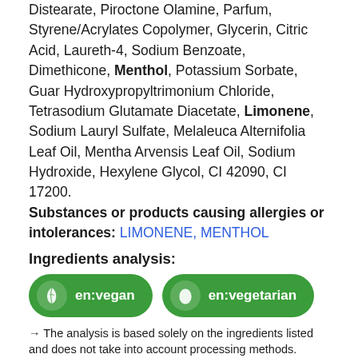Distearate, Piroctone Olamine, Parfum, Styrene/Acrylates Copolymer, Glycerin, Citric Acid, Laureth-4, Sodium Benzoate, Dimethicone, Menthol, Potassium Sorbate, Guar Hydroxypropyltrimonium Chloride, Tetrasodium Glutamate Diacetate, Limonene, Sodium Lauryl Sulfate, Melaleuca Alternifolia Leaf Oil, Mentha Arvensis Leaf Oil, Sodium Hydroxide, Hexylene Glycol, CI 42090, CI 17200. Substances or products causing allergies or intolerances: LIMONENE, MENTHOL
Ingredients analysis:
[Figure (infographic): Two green rounded badge buttons: 'en:vegan' with a leaf icon and 'en:vegetarian' with an egg icon]
→ The analysis is based solely on the ingredients listed and does not take into account processing methods.
Details of the analysis of the ingredients » We need your help!
Additi